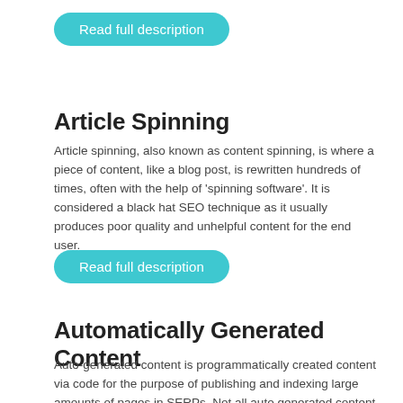[Figure (other): Teal rounded button labeled 'Read full description']
Article Spinning
Article spinning, also known as content spinning, is where a piece of content, like a blog post, is rewritten hundreds of times, often with the help of 'spinning software'. It is considered a black hat SEO technique as it usually produces poor quality and unhelpful content for the end user.
[Figure (other): Teal rounded button labeled 'Read full description']
Automatically Generated Content
Auto-generated content is programmatically created content via code for the purpose of publishing and indexing large amounts of pages in SERPs. Not all auto generated content is inherently "black hat"